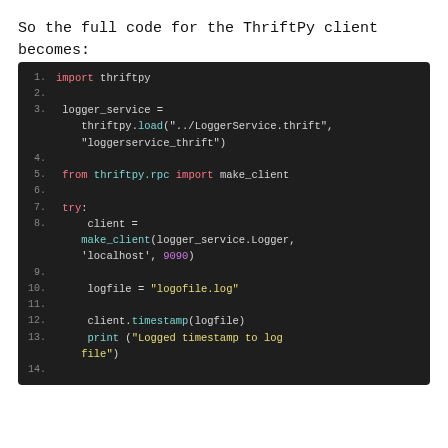So the full code for the ThriftPy client becomes:
[Figure (screenshot): Dark-themed code editor showing Python ThriftPy client code, lines 1-14, with syntax highlighting in pink, cyan, yellow, and white on a dark background.]